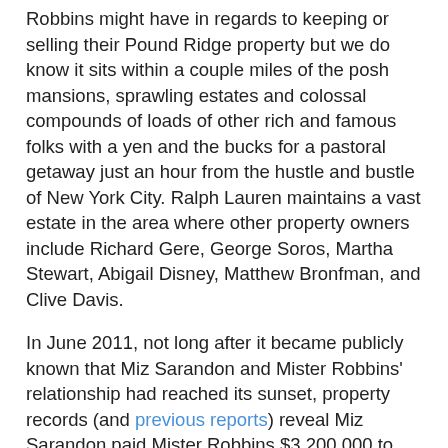Robbins might have in regards to keeping or selling their Pound Ridge property but we do know it sits within a couple miles of the posh mansions, sprawling estates and colossal compounds of loads of other rich and famous folks with a yen and the bucks for a pastoral getaway just an hour from the hustle and bustle of New York City. Ralph Lauren maintains a vast estate in the area where other property owners include Richard Gere, George Soros, Martha Stewart, Abigail Disney, Matthew Bronfman, and Clive Davis.
In June 2011, not long after it became publicly known that Miz Sarandon and Mister Robbins' relationship had reached its sunset, property records (and previous reports) reveal Miz Sarandon paid Mister Robbins $3,200,000 to take full ownership over their leviathan loft in New York City. At the same time she was buying Mister Robbins out she also snatched up a wee but pricey bachelorette pad in an elegant pre-war apartment building in a particularly charming (and swank) section of Greenwich Village known as the Gold Coast.
Property records (and previous reports) show the newly